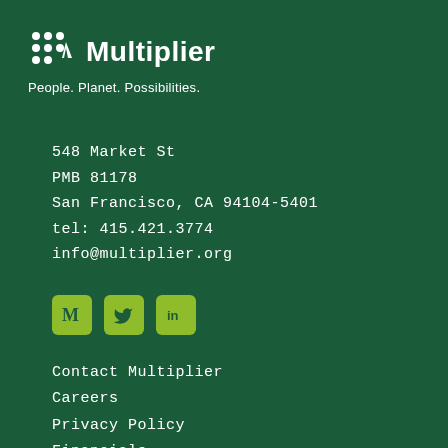[Figure (logo): Multiplier logo with dot-grid icon and text 'Multiplier']
People. Planet. Possibilities.
548 Market St
PMB 81178
San Francisco, CA 94104-5401
tel: 415.421.3774
info@multiplier.org
[Figure (infographic): Social media icons: Medium (M), Twitter (bird), LinkedIn (in) — green rounded square icons]
Contact Multiplier
Careers
Privacy Policy
Financials
Charitable Disclosures